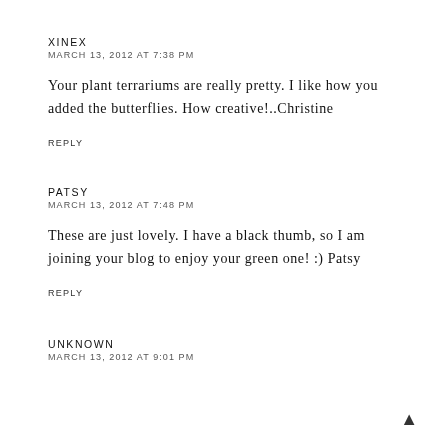XINEX
MARCH 13, 2012 AT 7:38 PM
Your plant terrariums are really pretty. I like how you added the butterflies. How creative!..Christine
REPLY
PATSY
MARCH 13, 2012 AT 7:48 PM
These are just lovely. I have a black thumb, so I am joining your blog to enjoy your green one! :) Patsy
REPLY
UNKNOWN
MARCH 13, 2012 AT 9:01 PM